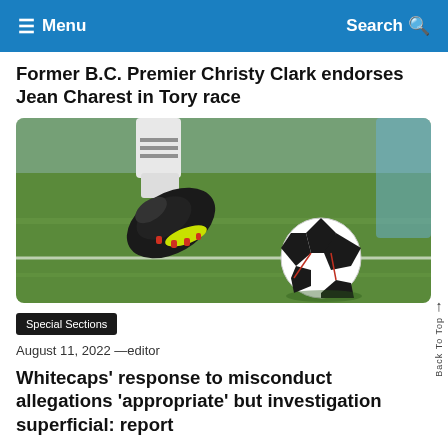Menu | Search
Former B.C. Premier Christy Clark endorses Jean Charest in Tory race
[Figure (photo): Close-up photo of a soccer player's cleated boot about to kick a soccer ball on a grass field]
Special Sections
August 11, 2022 —editor
Whitecaps' response to misconduct allegations 'appropriate' but investigation superficial: report